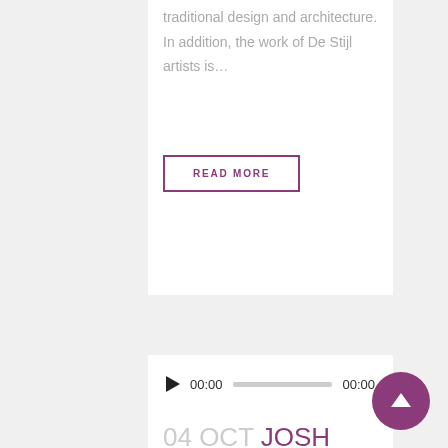traditional design and architecture. In addition, the work of De Stijl artists is…
READ MORE
[Figure (other): Audio player widget showing play button, 00:00 timestamp, progress bar, and 00:00 end timestamp]
04 OCT JOSH WOODWARD – ALREADY THERE
Posted at 15:57h in Music by wicladmin • 0 Comments • 133 Likes • Share
The term minimalism is also used to…